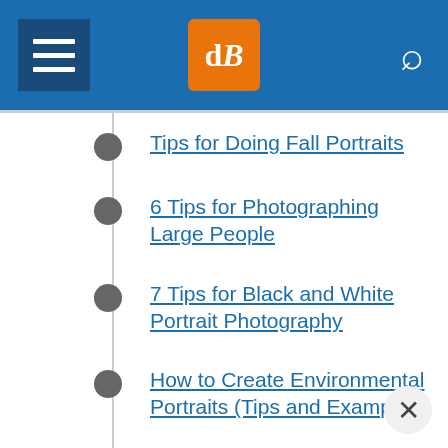dPS navigation header with hamburger menu, logo, and search icon
Tips for Doing Fall Portraits
6 Tips for Photographing Large People
7 Tips for Black and White Portrait Photography
How to Create Environmental Portraits (Tips and Examples)
Capturing Unenthusiastic Teens: Forget the Perfect Pose and Get Photos You Truly Love
Tips for Taking the Torture out of Extended Family Portrait Sessions